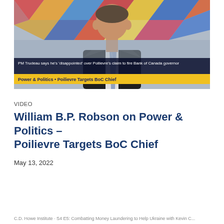[Figure (screenshot): Screenshot of a CBC Power & Politics television broadcast showing a man in a suit with a chyron reading 'PM Trudeau says he is disappointed over Poilievre's claim to fire Bank of Canada governor' and a yellow banner reading 'Power & Politics • Poilievre Targets BoC Chief']
VIDEO
William B.P. Robson on Power & Politics – Poilievre Targets BoC Chief
May 13, 2022
C.D. Howe Institute · S4 E5: Combatting Money Laundering to Help Ukraine with Kevin C...